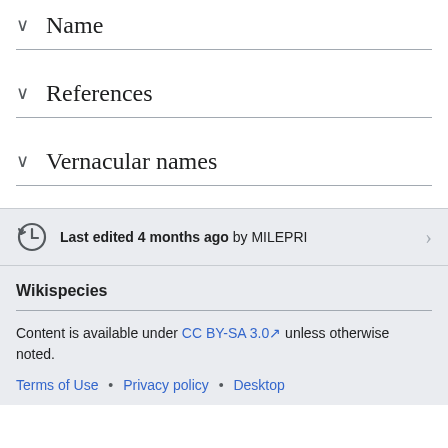Name
References
Vernacular names
Last edited 4 months ago by MILEPRI
Wikispecies
Content is available under CC BY-SA 3.0 unless otherwise noted.
Terms of Use • Privacy policy • Desktop